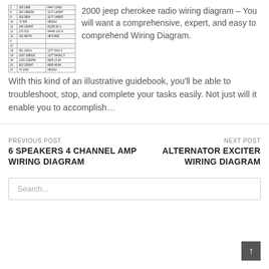[Figure (table-as-image): A wiring diagram table with rows of connector pin data, numbers, and text in small font]
2000 jeep cherokee radio wiring diagram – You will want a comprehensive, expert, and easy to comprehend Wiring Diagram. With this kind of an illustrative guidebook, you'll be able to troubleshoot, stop, and complete your tasks easily. Not just will it enable you to accomplish…
PREVIOUS POST
6 SPEAKERS 4 CHANNEL AMP WIRING DIAGRAM
NEXT POST
ALTERNATOR EXCITER WIRING DIAGRAM
Search...